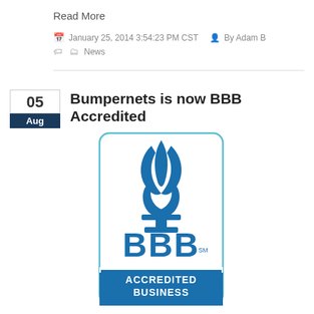Read More
January 25, 2014 3:54:23 PM CST   By Adam B
News
Bumpernets is now BBB Accredited
[Figure (logo): BBB Accredited Business logo with blue torch flame and BBB letters on white background with blue accredited business banner]